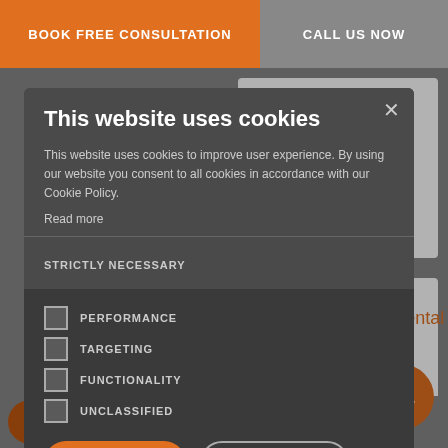BOOK FREE CONSULTATION   CALL US NOW
[Figure (screenshot): Cookie consent modal dialog overlaying a dental website. The modal has a dark gray background with title 'This website uses cookies', body text about cookie policy, checkboxes for STRICTLY NECESSARY, PERFORMANCE, TARGETING, FUNCTIONALITY, UNCLASSIFIED, and buttons ACCEPT ALL and DECLINE ALL. Behind the modal, orange checkmark icons and text about dental implants are partially visible: 'Regenerates missing bone' and 'Creates a suitable foundation for dental implant placement'. An orange up-arrow button is visible at bottom right.]
This website uses cookies
This website uses cookies to improve user experience. By using our website you consent to all cookies in accordance with our Cookie Policy.
Read more
STRICTLY NECESSARY
PERFORMANCE
TARGETING
FUNCTIONALITY
UNCLASSIFIED
ACCEPT ALL   DECLINE ALL
SHOW DETAILS